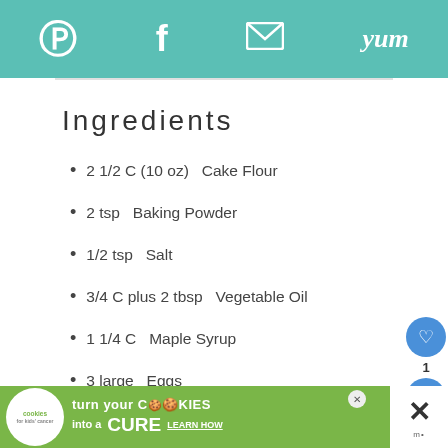Pinterest | Facebook | Email | Yum
Ingredients
2 1/2 C (10 oz)  Cake Flour
2 tsp  Baking Powder
1/2 tsp  Salt
3/4 C plus 2 tbsp  Vegetable Oil
1 1/4 C  Maple Syrup
3 large  Eggs
1/2 tsp  Maple Extract
turn your COOKIES into a CURE LEARN HOW